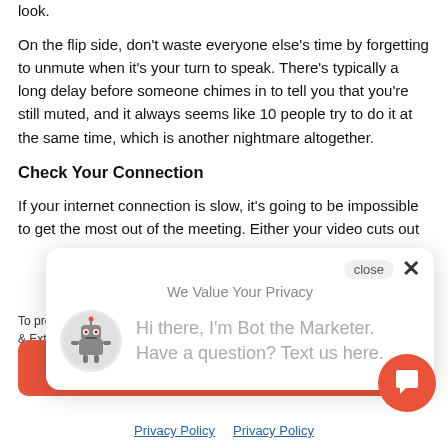look.
On the flip side, don’t waste everyone else’s time by forgetting to unmute when it’s your turn to speak. There’s typically a long delay before someone chimes in to tell you that you’re still muted, and it always seems like 10 people try to do it at the same time, which is another nightmare altogether.
Check Your Connection
If your internet connection is slow, it’s going to be impossible to get the most out of the meeting. Either your video cuts out
[Figure (screenshot): Chat bot popup overlay with robot icon and message: Hi there, I’m Bot the Marketer. Have a question? Text us here. Also shows We Value Your Privacy title and close button.]
To provide the best e & External media coo changed or revoked our privacy policy.
Accept
Privacy Policy  Privacy Policy